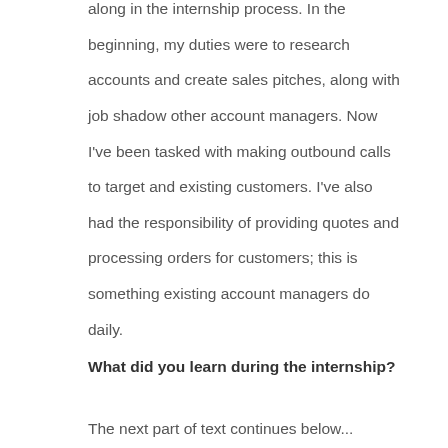along in the internship process. In the beginning, my duties were to research accounts and create sales pitches, along with job shadow other account managers. Now I've been tasked with making outbound calls to target and existing customers. I've also had the responsibility of providing quotes and processing orders for customers; this is something existing account managers do daily.
What did you learn during the internship?
The next part of text continues below...